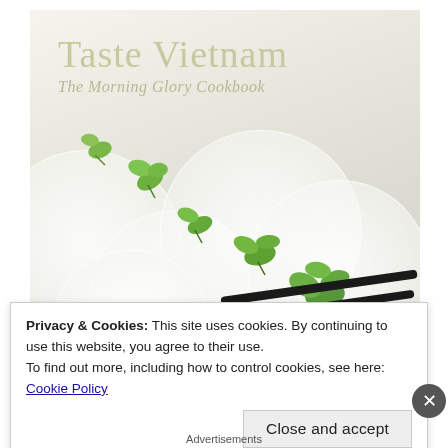[Figure (photo): Book cover of 'Taste Vietnam: The Morning Glory Cookbook' showing white ceramic plates with green herb sprigs arranged diagonally and black chopsticks on a white background. Author text visible at bottom.]
Privacy & Cookies: This site uses cookies. By continuing to use this website, you agree to their use.
To find out more, including how to control cookies, see here:
Cookie Policy
Close and accept
Advertisements